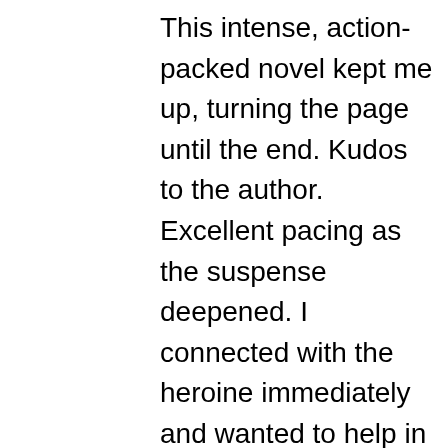This intense, action-packed novel kept me up, turning the page until the end. Kudos to the author. Excellent pacing as the suspense deepened. I connected with the heroine immediately and wanted to help in her dilemma. Christina (Christy) O'Malley, a prisoner in her own home, suspects someone murdered her sister. She grabs Ellie, her five-year-old daughter, and escapes in the snowy weather. Christy suspects someone murdered her sister, and she and her daughter are next. She races to her car. Someone starts shooting. The only person she can trust is Sam